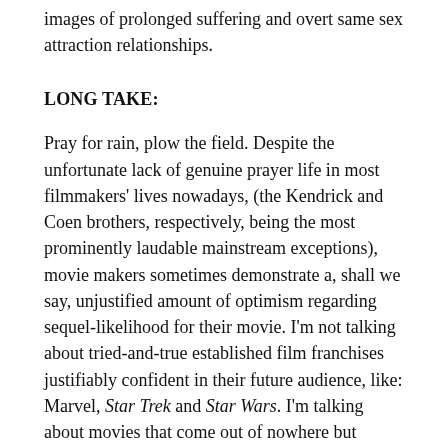images of prolonged suffering and overt same sex attraction relationships.
LONG TAKE:
Pray for rain, plow the field. Despite the unfortunate lack of genuine prayer life in most filmmakers' lives nowadays, (the Kendrick and Coen brothers, respectively, being the most prominently laudable mainstream exceptions), movie makers sometimes demonstrate a, shall we say, unjustified amount of optimism regarding sequel-likelihood for their movie. I'm not talking about tried-and-true established film franchises justifiably confident in their future audience, like: Marvel, Star Trek and Star Wars. I'm talking about movies that come out of nowhere but blatantly setup endings which require a sequel for an adequate conclusion, ending in what can only be thought of as a cheap way to